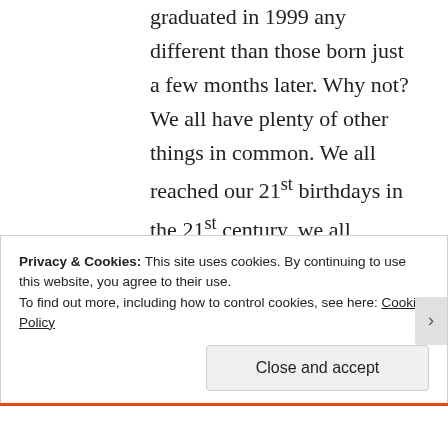graduated in 1999 any different than those born just a few months later. Why not? We all have plenty of other things in common. We all reached our 21st birthdays in the 21st century, we all graduated college and started our real adult life in the 21st century. By
Privacy & Cookies: This site uses cookies. By continuing to use this website, you agree to their use.
To find out more, including how to control cookies, see here: Cookie Policy
Close and accept